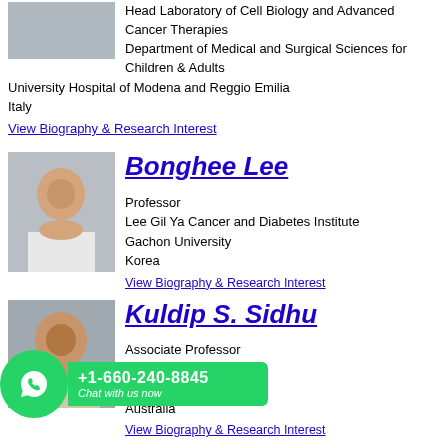Head Laboratory of Cell Biology and Advanced Cancer Therapies
Department of Medical and Surgical Sciences for Children & Adults
University Hospital of Modena and Reggio Emilia
Italy
View Biography & Research Interest
Bonghee Lee
Professor
Lee Gil Ya Cancer and Diabetes Institute
Gachon University
Korea
View Biography & Research Interest
Kuldip S. Sidhu
Associate Professor
...New South Wales
Australia
View Biography & Research Interest